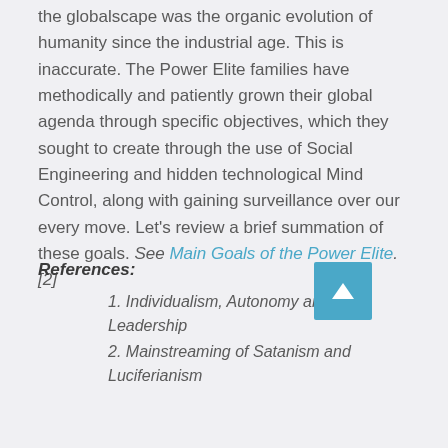the globalscape was the organic evolution of humanity since the industrial age. This is inaccurate. The Power Elite families have methodically and patiently grown their global agenda through specific objectives, which they sought to create through the use of Social Engineering and hidden technological Mind Control, along with gaining surveillance over our every move. Let's review a brief summation of these goals. See Main Goals of the Power Elite. [2]
References:
1. Individualism, Autonomy and Self Leadership
2. Mainstreaming of Satanism and Luciferianism